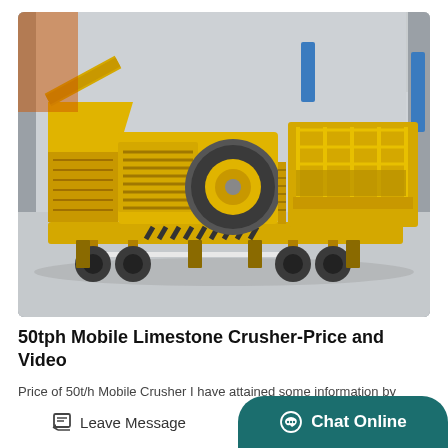[Figure (photo): A large yellow mobile limestone crusher mounted on a wheeled trailer, photographed inside an industrial warehouse/factory building with concrete pillars and a grey floor. The machine features a feeder hopper on the left, a central crushing unit, and an elevated walkway with railings on the right side.]
50tph Mobile Limestone Crusher-Price and Video
Price of 50t/h Mobile Crusher I have attained some information by
Leave Message
Chat Online